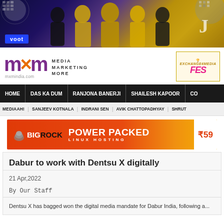[Figure (photo): Voot banner ad showing Bollywood celebrities in gold outfits against a disco ball background with Jhalak Dikhhla Jaa show promotion]
[Figure (logo): MXM India logo - mxm in purple with orange x, tagline MEDIA MARKETING MORE, url mxmindia.com, and a partial festival badge on the right]
HOME | DAS KA DUM | RANJONA BANERJI | SHAILESH KAPOOR | CO...
MEDIAAH! | SANJEEV KOTNALA | INDRANI SEN | AVIK CHATTOPADHYAY | SHRUT...
[Figure (other): BigRock Power Packed Linux Hosting advertisement banner with price ₹59]
Dabur to work with Dentsu X digitally
21 Apr,2022
By Our Staff
Dentsu X has bagged won the digital media mandate for Dabur India, following a...